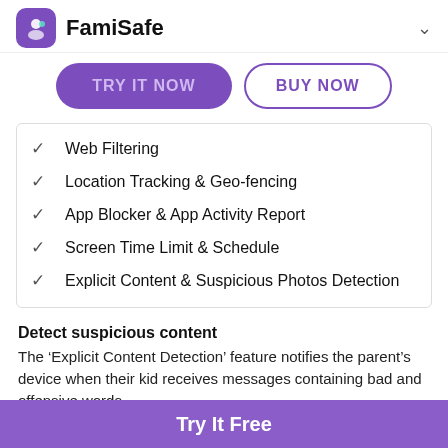FamiSafe
[Figure (illustration): FamiSafe app icon (purple rounded square with person/family icon) and app name 'FamiSafe' with a chevron dropdown arrow]
Web Filtering
Location Tracking & Geo-fencing
App Blocker & App Activity Report
Screen Time Limit & Schedule
Explicit Content & Suspicious Photos Detection
Detect suspicious content
The 'Explicit Content Detection' feature notifies the parent's device when their kid receives messages containing bad and offensive words.
Try It Free